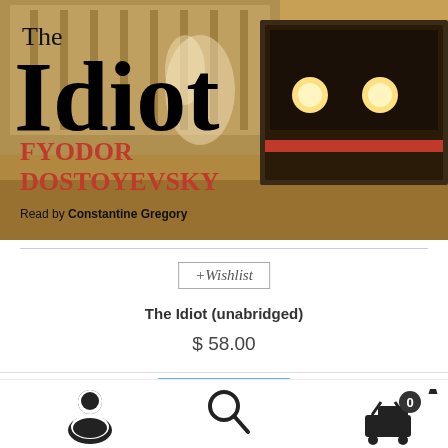[Figure (photo): Book cover of 'The Idiot' by Fyodor Dostoyevsky, read by Constantine Gregory. Shows a train in warm golden-brown tones. Title 'The Idiot' in large black serif text, author name in red, reader credit below.]
+Wishlist
The Idiot (unabridged)
$ 58.00
[Figure (screenshot): Bottom navigation bar with user/account icon, search icon, and shopping cart icon with badge showing 0.]